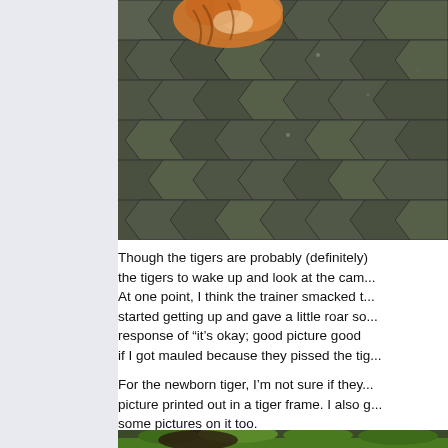[Figure (photo): Tiger paw and orange fur visible on a mossy stone/cobblestone surface viewed from above]
Though the tigers are probably (definitely) the tigers to wake up and look at the cam... At one point, I think the trainer smacked t... started getting up and gave a little roar so... response of “it’s okay; good picture good... if I got mauled because they pissed the tig...
For the newborn tiger, I’m not sure if they... picture printed out in a tiger frame. I also g... some pictures on it too.
[Figure (photo): Animal partially visible among green foliage and grass]